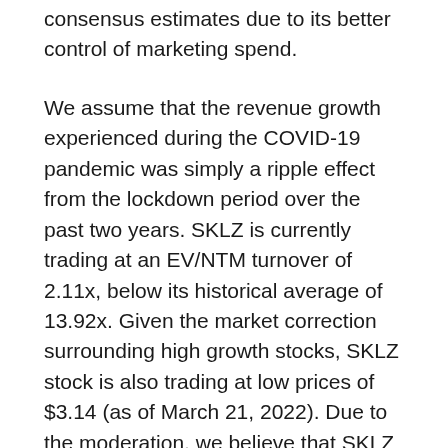consensus estimates due to its better control of marketing spend.
We assume that the revenue growth experienced during the COVID-19 pandemic was simply a ripple effect from the lockdown period over the past two years. SKLZ is currently trading at an EV/NTM turnover of 2.11x, below its historical average of 13.92x. Given the market correction surrounding high growth stocks, SKLZ stock is also trading at low prices of $3.14 (as of March 21, 2022). Due to the moderation, we believe that SKLZ is currently trading closer to its normalized valuations.
We would also like to point out that almost all gambling stocks are punished, with DraftKings (DKNG) and Penn National Gaming (PENN) losing -64.39% and -38.26% of their values respectively over the last six months. Even game [continues]